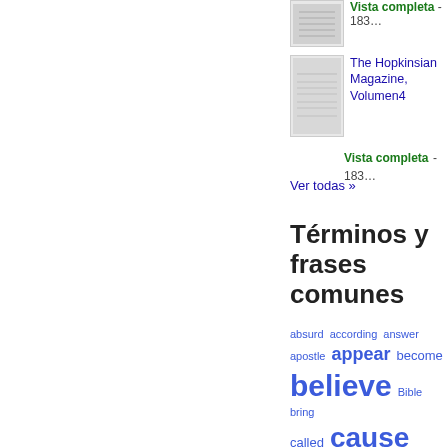[Figure (illustration): Thumbnail image of a book cover for The Hopkinsian Magazine]
The Hopkinsian Magazine, Volumen4
Vista completa - 183...
Ver todas »
Términos y frases comunes
absurd  according  answer  apostle  appear  become  believe  Bible  bring  called  cause  character  choice  choose  Christ  Christian  Church  commands  conduct  consider  consists